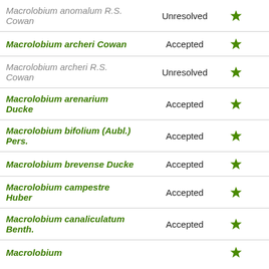| Name | Status |  |
| --- | --- | --- |
| Macrolobium anomalum R.S. Cowan | Unresolved | ★ |
| Macrolobium archeri Cowan | Accepted | ★ |
| Macrolobium archeri R.S. Cowan | Unresolved | ★ |
| Macrolobium arenarium Ducke | Accepted | ★ |
| Macrolobium bifolium (Aubl.) Pers. | Accepted | ★ |
| Macrolobium brevense Ducke | Accepted | ★ |
| Macrolobium campestre Huber | Accepted | ★ |
| Macrolobium canaliculatum Benth. | Accepted | ★ |
| Macrolobium |  | ★ |